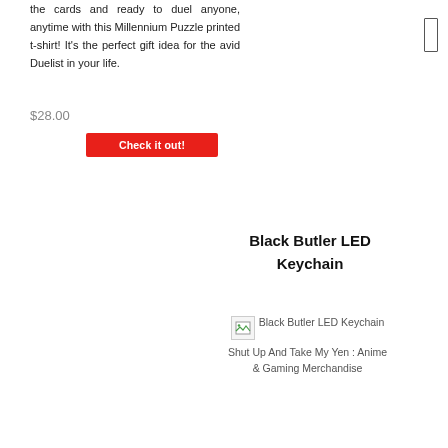the cards and ready to duel anyone, anytime with this Millennium Puzzle printed t-shirt! It's the perfect gift idea for the avid Duelist in your life.
$28.00
Check it out!
Black Butler LED Keychain
[Figure (other): Broken image placeholder with alt text: Black Butler LED Keychain Shut Up And Take My Yen : Anime & Gaming Merchandise]